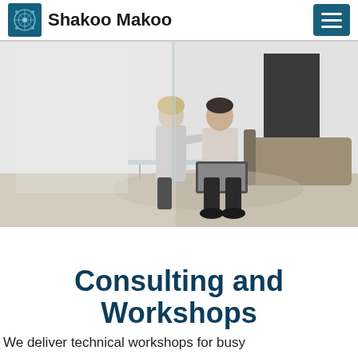Shakoo Makoo
[Figure (photo): Black and white photo of two professionals (a woman and a man) sitting on a modern sofa in a modern office lounge, appearing to have a consultation or meeting. The man is holding a laptop or tablet. There is a glass table and a large dark panel/partition in the background.]
Consulting and Workshops
We deliver technical workshops for busy